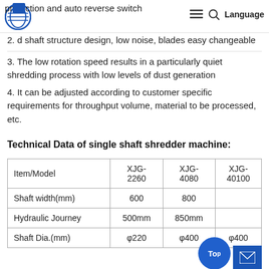protection and auto reverse switch | Language menu icons
2. d shaft structure design, low noise, blades easy changeable
3. The low rotation speed results in a particularly quiet shredding process with low levels of dust generation
4. It can be adjusted according to customer specific requirements for throughput volume, material to be processed, etc.
Technical Data of single shaft shredder machine:
| Item/Model | XJG-2260 | XJG-4080 | XJG-40100 |
| --- | --- | --- | --- |
| Shaft width(mm) | 600 | 800 |  |
| Hydraulic Journey | 500mm | 850mm |  |
| Shaft Dia.(mm) | φ220 | φ400 | φ400 |